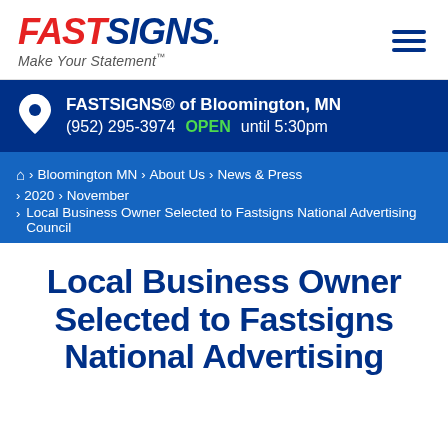FASTSIGNS. Make Your Statement™
FASTSIGNS® of Bloomington, MN (952) 295-3974 OPEN until 5:30pm
Home > Bloomington MN > About Us > News & Press > 2020 > November > Local Business Owner Selected to Fastsigns National Advertising Council
Local Business Owner Selected to Fastsigns National Advertising